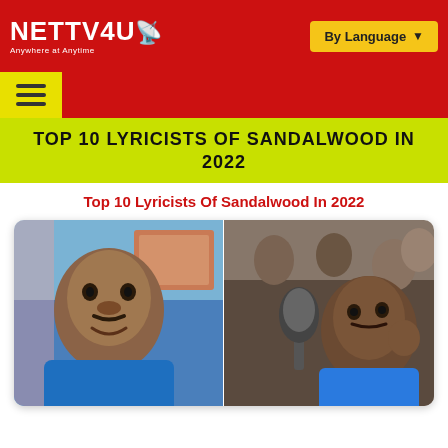NETTV4U — Anywhere at Anytime | By Language
[Figure (screenshot): Website header showing NETTV4U logo on red background and yellow 'By Language' dropdown button]
[Figure (screenshot): Yellow-green banner with bold black text reading 'TOP 10 LYRICISTS OF SANDALWOOD IN 2022']
Top 10 Lyricists Of Sandalwood In 2022
[Figure (photo): Photo collage of two Indian men in blue shirts, one smiling at camera in a studio setting, the other listening thoughtfully near a microphone]